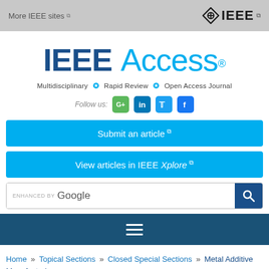More IEEE sites ↗
[Figure (logo): IEEE diamond logo with wordmark IEEE in top navigation bar]
[Figure (logo): IEEE Access logo: IEEE in dark blue bold, Access in light blue thin, with registered trademark symbol]
Multidisciplinary ⁞ Rapid Review ⁞ Open Access Journal
Follow us:
[Figure (logo): Social media icons: Growkudos (green), LinkedIn (blue), Twitter (light blue), Facebook (blue)]
Submit an article ↗
View articles in IEEE Xplore ↗
ENHANCED BY Google (search bar)
Hamburger menu icon
Home » Topical Sections » Closed Special Sections » Metal Additive Manufacturing